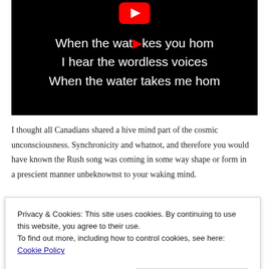[Figure (screenshot): YouTube video thumbnail showing lyrics on black background: 'When the water takes you hom', 'I hear the wordless voices', 'When the water takes me hom' with a YouTube play button logo at top center]
I thought all Canadians shared a hive mind part of the cosmic unconsciousness. Synchronicity and whatnot, and therefore you would have known the Rush song was coming in some way shape or form in a prescient manner unbeknownst to your waking mind.
Privacy & Cookies: This site uses cookies. By continuing to use this website, you agree to their use.
To find out more, including how to control cookies, see here: Cookie Policy
Close and accept
REPLY